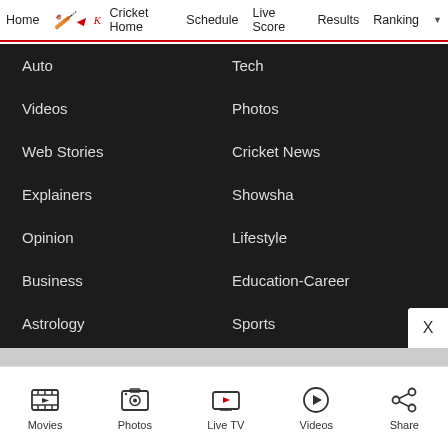Home | Cricket Home | Schedule | Live Score | Results | Ranking
Auto
Tech
Videos
Photos
Web Stories
Cricket News
Explainers
Showsha
Opinion
Lifestyle
Business
Education-Career
Astrology
Sports
LANGUAGE SITES
Hindi News
Marathi News
Movies | Photos | Live TV | Videos | Share